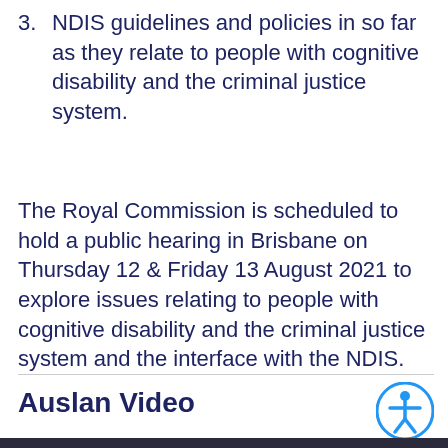3. NDIS guidelines and policies in so far as they relate to people with cognitive disability and the criminal justice system.
The Royal Commission is scheduled to hold a public hearing in Brisbane on Thursday 12 & Friday 13 August 2021 to explore issues relating to people with cognitive disability and the criminal justice system and the interface with the NDIS.
Auslan Video